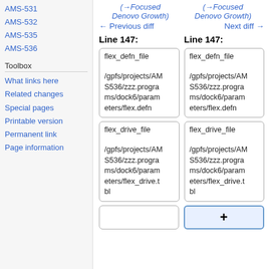AMS-531
AMS-532
AMS-535
AMS-536
Toolbox
What links here
Related changes
Special pages
Printable version
Permanent link
Page information
(→Focused Denovo Growth)
(→Focused Denovo Growth)
← Previous diff
Next diff →
Line 147:
Line 147:
flex_defn_file
/gpfs/projects/AMS536/zzz.programs/dock6/parameters/flex.defn
flex_defn_file
/gpfs/projects/AMS536/zzz.programs/dock6/parameters/flex.defn
flex_drive_file
/gpfs/projects/AMS536/zzz.programs/dock6/parameters/flex_drive.tbl
flex_drive_file
/gpfs/projects/AMS536/zzz.programs/dock6/parameters/flex_drive.tbl